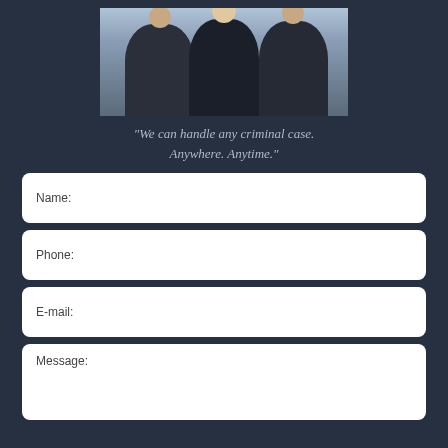[Figure (photo): Group photo of three attorneys (two men and one woman) in professional attire standing in front of a city skyline background.]
“We can handle any criminal case. Anywhere. Anytime.”
Name:
Phone:
E-mail:
Message: